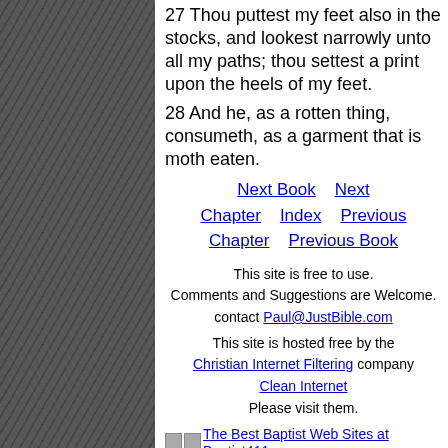27 Thou puttest my feet also in the stocks, and lookest narrowly unto all my paths; thou settest a print upon the heels of my feet.
28 And he, as a rotten thing, consumeth, as a garment that is moth eaten.
Next Book   Next Chapter   Index   Previous Chapter   Previous Book
This site is free to use.
Comments and Suggestions are Welcome.
contact Paul@JustBible.com
This site is hosted free by the Christian Internet Filtering company Clean Internet Please visit them.
The Best Baptist Web Sites at Baptist411.com